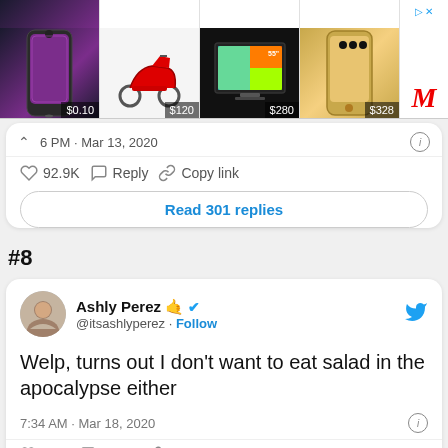[Figure (screenshot): Advertisement banner showing 4 products: iPhone 13 Pro ($0.10), red scooter ($120), 55-inch colorful TV ($280), gold iPhone 13 Pro ($328), with MediaMarkt logo on the right]
6 PM · Mar 13, 2020
92.9K  Reply  Copy link
Read 301 replies
#8
Ashly Perez 🤙 @itsashlyperez · Follow
Welp, turns out I don't want to eat salad in the apocalypse either
7:34 AM · Mar 18, 2020
2.7K  Reply  Copy link